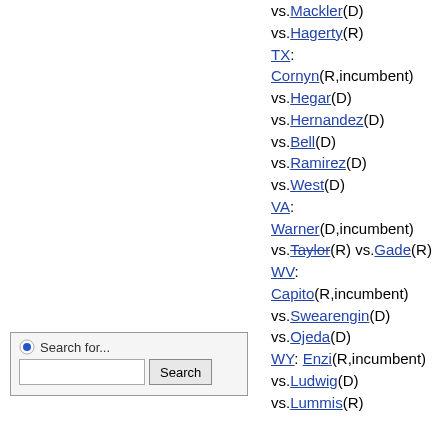vs.Mackler(D)
vs.Hagerty(R)
TX:
Cornyn(R,incumbent)
vs.Hegar(D)
vs.Hernandez(D)
vs.Bell(D)
vs.Ramirez(D)
vs.West(D)
VA:
Warner(D,incumbent)
vs.Taylor(R) vs.Gade(R)
WV:
Capito(R,incumbent)
vs.Swearengin(D)
vs.Ojeda(D)
WY: Enzi(R,incumbent)
vs.Ludwig(D)
vs.Lummis(R)
[Figure (screenshot): Search box UI with radio button labeled 'Search for...', a text input field, and a Search button]